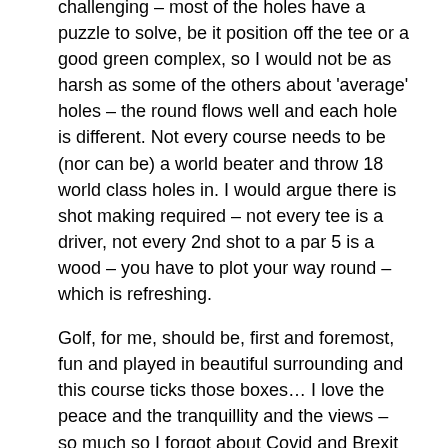challenging – most of the holes have a puzzle to solve, be it position off the tee or a good green complex, so I would not be as harsh as some of the others about 'average' holes – the round flows well and each hole is different. Not every course needs to be (nor can be) a world beater and throw 18 world class holes in. I would argue there is shot making required – not every tee is a driver, not every 2nd shot to a par 5 is a wood – you have to plot your way round – which is refreshing.
Golf, for me, should be, first and foremost, fun and played in beautiful surrounding and this course ticks those boxes… I love the peace and the tranquillity and the views – so much so I forgot about Covid and Brexit for 2 days!
I should also say that its excellent value for money – at £40 the green fee is remarkable value for a good course, so they are not pitching themselves to be something they are not and full credit to them.
The greens are the main defence, challenging due to slopes and contours and add massively to the fun and challenge - there are no easy putts and you need to miss in the right places and they were certainly running fast.
A few issues I would raise regarding the layout - the tree on the